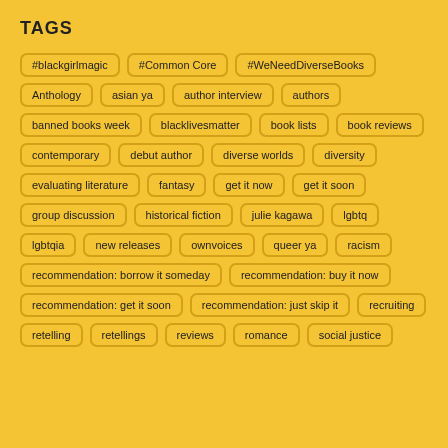TAGS
#blackgirlmagic
#Common Core
#WeNeedDiverseBooks
Anthology
asian ya
author interview
authors
banned books week
blacklivesmatter
book lists
book reviews
contemporary
debut author
diverse worlds
diversity
evaluating literature
fantasy
get it now
get it soon
group discussion
historical fiction
julie kagawa
lgbtq
lgbtqia
new releases
ownvoices
queer ya
racism
recommendation: borrow it someday
recommendation: buy it now
recommendation: get it soon
recommendation: just skip it
recruiting
retelling
retellings
reviews
romance
social justice